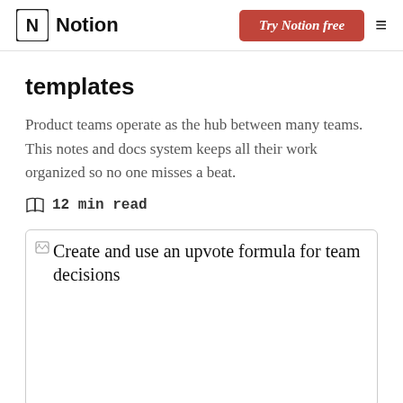Notion | Try Notion free
templates
Product teams operate as the hub between many teams. This notes and docs system keeps all their work organized so no one misses a beat.
12 min read
[Figure (screenshot): Image card with broken image icon and text: Create and use an upvote formula for team decisions]